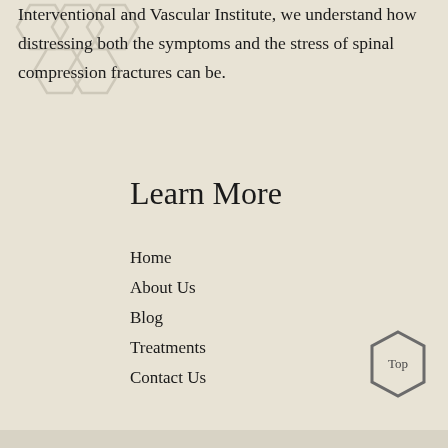Interventional and Vascular Institute, we understand how distressing both the symptoms and the stress of spinal compression fractures can be.
Learn More
Home
About Us
Blog
Treatments
Contact Us
[Figure (illustration): Hexagon 'Top' button in lower right corner]